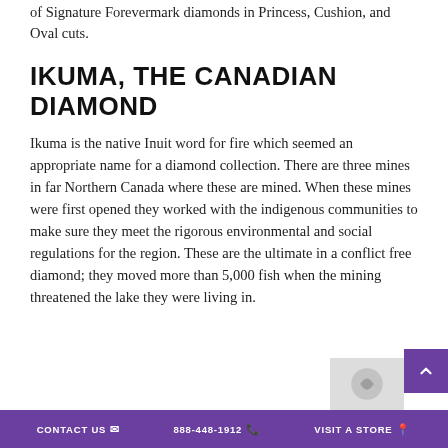of Signature Forevermark diamonds in Princess, Cushion, and Oval cuts.
IKUMA, THE CANADIAN DIAMOND
Ikuma is the native Inuit word for fire which seemed an appropriate name for a diamond collection. There are three mines in far Northern Canada where these are mined. When these mines were first opened they worked with the indigenous communities to make sure they meet the rigorous environmental and social regulations for the region. These are the ultimate in a conflict free diamond; they moved more than 5,000 fish when the mining threatened the lake they were living in.
CONTACT US  888-448-1912  VISIT A STORE